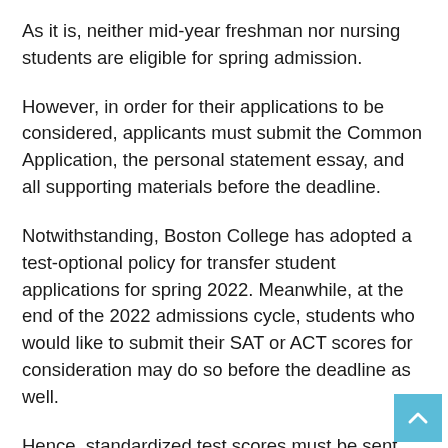As it is, neither mid-year freshman nor nursing students are eligible for spring admission.
However, in order for their applications to be considered, applicants must submit the Common Application, the personal statement essay, and all supporting materials before the deadline.
Notwithstanding, Boston College has adopted a test-optional policy for transfer student applications for spring 2022. Meanwhile, at the end of the 2022 admissions cycle, students who would like to submit their SAT or ACT scores for consideration may do so before the deadline as well.
Hence, standardized test scores must be sent directly to Boston College by the testing agency. This is mainly